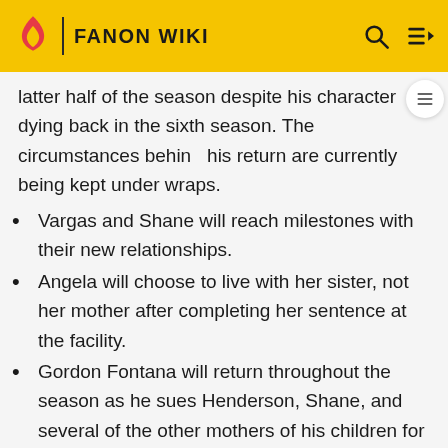FANON WIKI
latter half of the season despite his character dying back in the sixth season. The circumstances behind his return are currently being kept under wraps.
Vargas and Shane will reach milestones with their new relationships.
Angela will choose to live with her sister, not her mother after completing her sentence at the facility.
Gordon Fontana will return throughout the season as he sues Henderson, Shane, and several of the other mothers of his children for visitation rights despite him being in prison.
Episode 7 will be a special second-handler/flashback episode which mainly involved Hartman and Gordon when she visit him to the